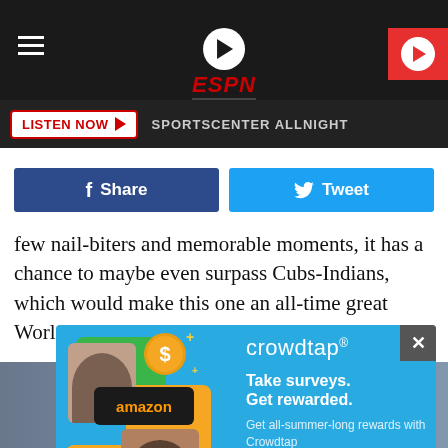ESPN Yakima — LISTEN NOW | SPORTSCENTER ALLNIGHT
[Figure (screenshot): ESPN Yakima logo with play button, hamburger menu, and red play button on dark header]
few nail-biters and memorable moments, it has a chance to maybe even surpass Cubs-Indians, which would make this one an all-time great World Series. Here's hoping!
[Figure (infographic): Crowdtap advertisement: Take surveys. Get rewarded. Get all-summer-long rewards with Crowdtap. Amazon, dollar coin, gift icons and people photos on blue background. Get Started button.]